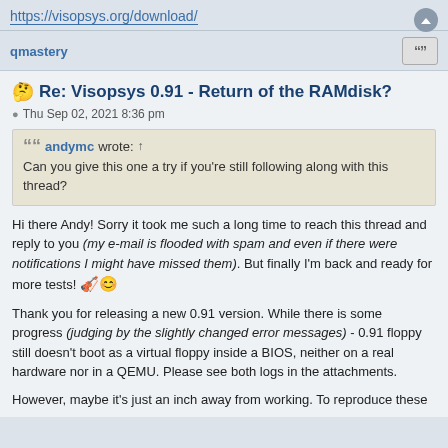https://visopsys.org/download/
qmastery
Re: Visopsys 0.91 - Return of the RAMdisk?
Thu Sep 02, 2021 8:36 pm
andymc wrote: ↑
Can you give this one a try if you're still following along with this thread?
Hi there Andy! Sorry it took me such a long time to reach this thread and reply to you (my e-mail is flooded with spam and even if there were notifications I might have missed them). But finally I'm back and ready for more tests!
Thank you for releasing a new 0.91 version. While there is some progress (judging by the slightly changed error messages) - 0.91 floppy still doesn't boot as a virtual floppy inside a BIOS, neither on a real hardware nor in a QEMU. Please see both logs in the attachments.
However, maybe it's just an inch away from working. To reproduce these